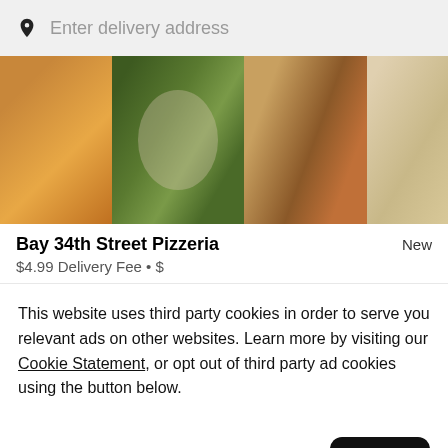Enter delivery address
[Figure (photo): Overhead view of multiple pizza slices on plates including varieties with spinach/vegetables, meat toppings, and plain cheese on a gray surface]
Bay 34th Street Pizzeria
New
$4.99 Delivery Fee • $
This website uses third party cookies in order to serve you relevant ads on other websites. Learn more by visiting our Cookie Statement, or opt out of third party ad cookies using the button below.
Opt out
Got it